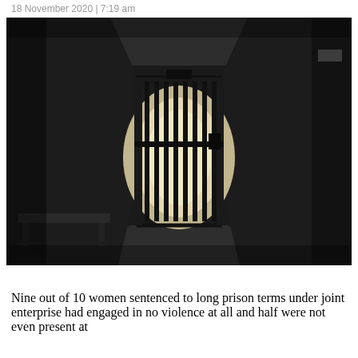18 November 2020 | 7:19 am
[Figure (photo): Dark prison corridor with brick walls, metal barred gate at the end with bright light behind it, and a bench on the left side floor]
Nine out of 10 women sentenced to long prison terms under joint enterprise had engaged in no violence at all and half were not even present at